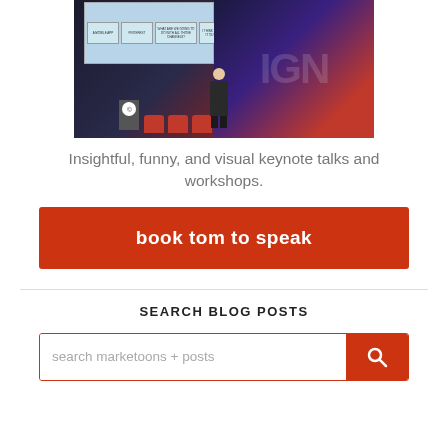[Figure (photo): A speaker presenting on stage at a conference. Behind them is a large screen showing a comic strip slide and an IGN-branded background display. Red chairs and a podium are visible on stage.]
Insightful, funny, and visual keynote talks and workshops.
book tom to speak
SEARCH BLOG POSTS
search marketoons + posts